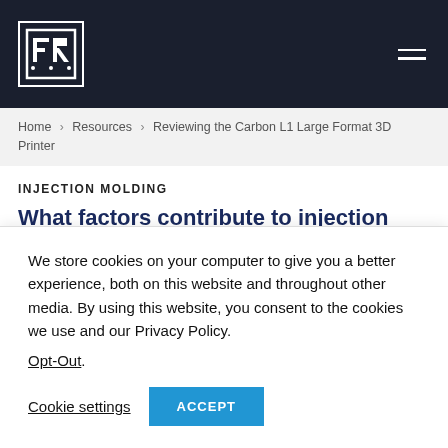FR [logo] | hamburger menu
Home > Resources > Reviewing the Carbon L1 Large Format 3D Printer
INJECTION MOLDING
What factors contribute to injection mold tooling costs?
DESIGN
We store cookies on your computer to give you a better experience, both on this website and throughout other media. By using this website, you consent to the cookies we use and our Privacy Policy.
Opt-Out.
Cookie settings  ACCEPT